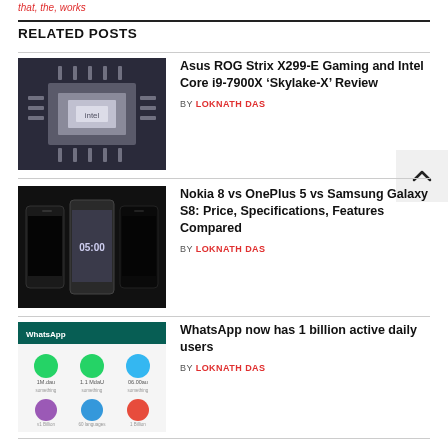that, the, works
RELATED POSTS
Asus ROG Strix X299-E Gaming and Intel Core i9-7900X ‘Skylake-X’ Review BY LOKNATH DAS
Nokia 8 vs OnePlus 5 vs Samsung Galaxy S8: Price, Specifications, Features Compared BY LOKNATH DAS
WhatsApp now has 1 billion active daily users BY LOKNATH DAS